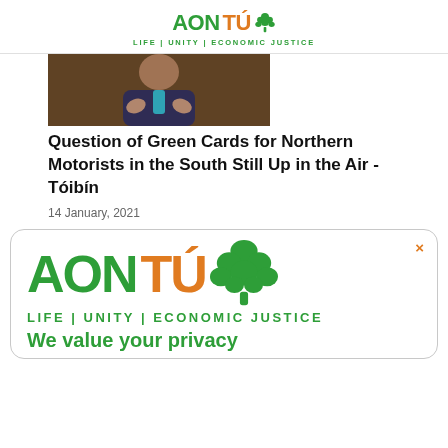AONTÚ LIFE | UNITY | ECONOMIC JUSTICE
[Figure (photo): Cropped photo of a person in a suit gesturing with hands, brown wooden background visible]
Question of Green Cards for Northern Motorists in the South Still Up in the Air - Tóibín
14 January, 2021
[Figure (logo): Aontú logo - large version with tree icon, tagline LIFE | UNITY | ECONOMIC JUSTICE, and orange X close button, inside a rounded rectangle popup]
We value your privacy